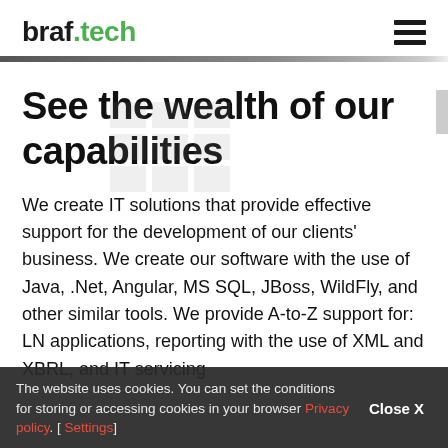braf.tech
See the wealth of our capabilities
We create IT solutions that provide effective support for the development of our clients' business. We create our software with the use of Java, .Net, Angular, MS SQL, JBoss, WildFly, and other similar tools. We provide A-to-Z support for: LN applications, reporting with the use of XML and XBRL, and IT servicing
The website uses cookies. You can set the conditions for storing or accessing cookies in your browser Privacy policy. [ Settings]